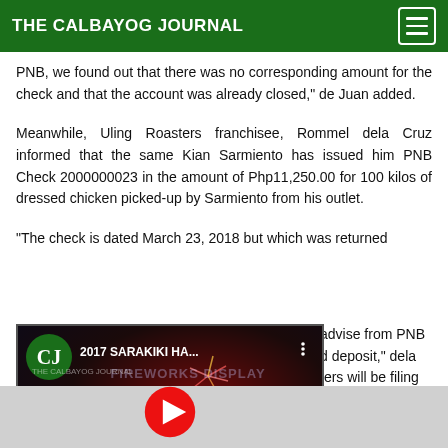THE CALBAYOG JOURNAL
PNB, we found out that there was no corresponding amount for the check and that the account was already closed," de Juan added.
Meanwhile, Uling Roasters franchisee, Rommel dela Cruz informed that the same Kian Sarmiento has issued him PNB Check 2000000023 in the amount of Php11,250.00 for 100 kilos of dressed chicken picked-up by Sarmiento from his outlet.
“The check is dated March 23, 2018 but which was returned advise from PNB d deposit," dela ters will be filing
[Figure (screenshot): YouTube video thumbnail for '2017 SARAKIKI HA...' from The Calbayog Journal channel, showing fireworks display with text 'SARAKIKI HADANG FESTIVAL 2017' and a red play button overlay. The CJ circular green logo appears in the top left corner of the thumbnail.]